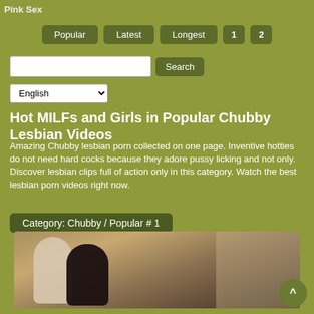Pink Sex
Popular
Latest
Longest
1
2
Hot MILFs and Girls in Popular Chubby Lesbian Videos
Amazing Chubby lesbian porn collected on one page. Inventive hotties do not need hard cocks because they adore pussy licking and not only. Discover lesbian clips full of action only in this category. Watch the best lesbian porn videos right now.
Category: Chubby / Popular # 1
[Figure (photo): Thumbnail photo of two women on stairs]